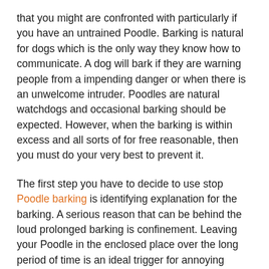that you might are confronted with particularly if you have an untrained Poodle. Barking is natural for dogs which is the only way they know how to communicate. A dog will bark if they are warning people from a impending danger or when there is an unwelcome intruder. Poodles are natural watchdogs and occasional barking should be expected. However, when the barking is within excess and all sorts of for free reasonable, then you must do your very best to prevent it.
The first step you have to decide to use stop Poodle barking is identifying explanation for the barking. A serious reason that can be behind the loud prolonged barking is confinement. Leaving your Poodle in the enclosed place over the long period of time is an ideal trigger for annoying barking behaviors. Your puppy may wish to tell you that they cannot just like the confinement and also, since they won't simply talk and let you know what they need, they are going to bark as loud as they possibly can to let you